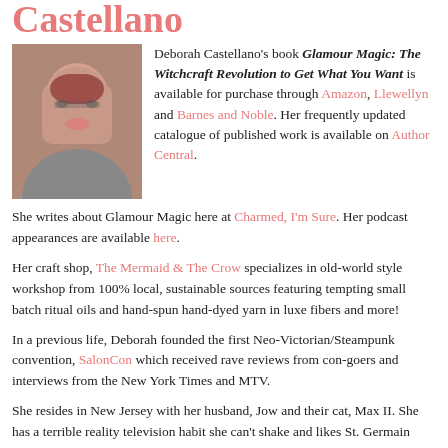Castellano
[Figure (photo): Headshot photo of Deborah Castellano, a woman with red hair and glasses]
Deborah Castellano's book Glamour Magic: The Witchcraft Revolution to Get What You Want is available for purchase through Amazon, Llewellyn and Barnes and Noble. Her frequently updated catalogue of published work is available on Author Central.
She writes about Glamour Magic here at Charmed, I'm Sure. Her podcast appearances are available here.
Her craft shop, The Mermaid & The Crow specializes in old-world style workshop from 100% local, sustainable sources featuring tempting small batch ritual oils and hand-spun hand-dyed yarn in luxe fibers and more!
In a previous life, Deborah founded the first Neo-Victorian/Steampunk convention, SalonCon which received rave reviews from con-goers and interviews from the New York Times and MTV.
She resides in New Jersey with her husband, Jow and their cat, Max II. She has a terrible reality television habit she can't shake and likes St. Germain liquor, record players and typewriters.
Social:
Twitter